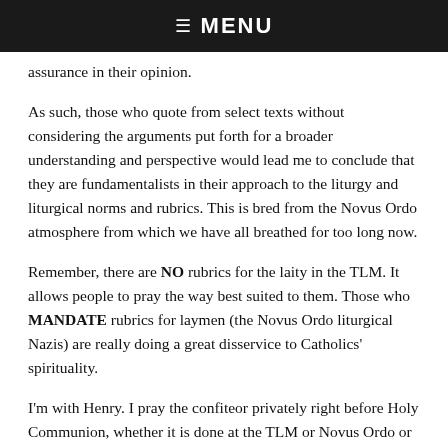☰  MENU
assurance in their opinion.
As such, those who quote from select texts without considering the arguments put forth for a broader understanding and perspective would lead me to conclude that they are fundamentalists in their approach to the liturgy and liturgical norms and rubrics. This is bred from the Novus Ordo atmosphere from which we have all breathed for too long now.
Remember, there are NO rubrics for the laity in the TLM. It allows people to pray the way best suited to them. Those who MANDATE rubrics for laymen (the Novus Ordo liturgical Nazis) are really doing a great disservice to Catholics' spirituality.
I'm with Henry. I pray the confiteor privately right before Holy Communion, whether it is done at the TLM or Novus Ordo or